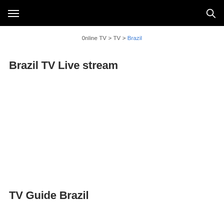0nline TV > TV > Brazil
Brazil TV Live stream
TV Guide Brazil